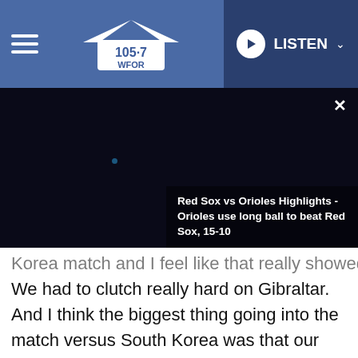105.7 WFOR | LISTEN
[Figure (screenshot): Video thumbnail showing dark frame with text overlay: 'Red Sox vs Orioles Highlights - Orioles use long ball to beat Red Sox, 15-10' with a close (X) button]
Korea match and I feel like that really showed. We had to clutch really hard on Gibraltar. And I think the biggest thing going into the match versus South Korea was that our team was never afraid of any other team, no matter who they were. It doesn't matter what the other team is. It's doesn't matter who they have. We would take fights 3 v 6 like legitimately if we think it's winnable. We'll use our ults, everyone trusts each other and we clutch a fight 3 v 6 so